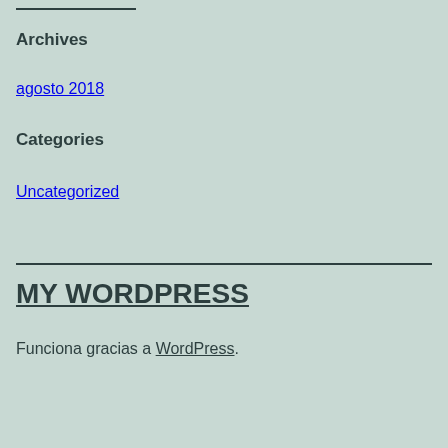Archives
agosto 2018
Categories
Uncategorized
MY WORDPRESS
Funciona gracias a WordPress.